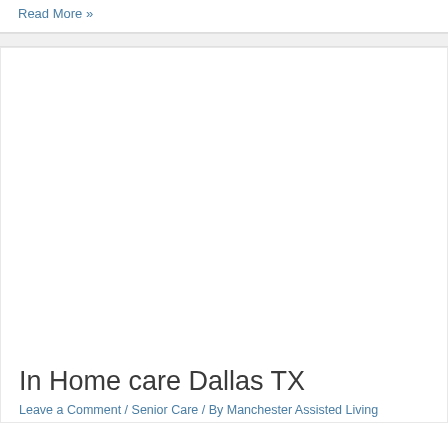Read More »
[Figure (photo): Blank white image placeholder area for a blog post card]
In Home care Dallas TX
Leave a Comment / Senior Care / By Manchester Assisted Living